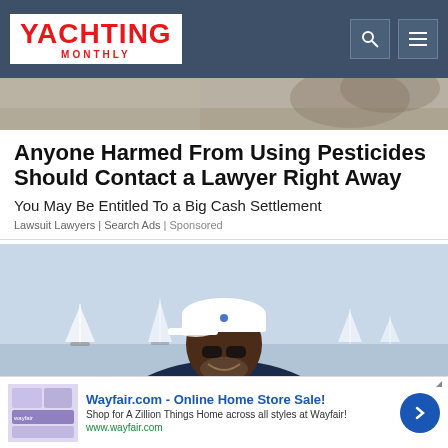YACHTING MONTHLY
[Figure (photo): Partial outdoor image at top, sky and foliage visible]
Anyone Harmed From Using Pesticides Should Contact a Lawyer Right Away
You May Be Entitled To a Big Cash Settlement
Lawsuit Lawyers | Search Ads | Sponsored
[Figure (photo): Smiling older Black man wearing a white polo cap and sunglasses, in a navy sweater, standing near a marina with sailboats in the background]
[Figure (photo): Wayfair.com advertisement banner - Online Home Store Sale! Shop for A Zillion Things Home across all styles at Wayfair! www.wayfair.com]